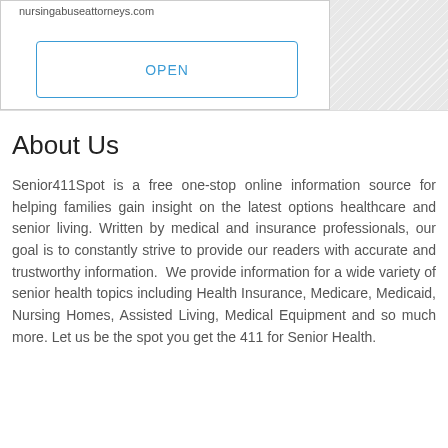nursingabuseattorneys.com
OPEN
About Us
Senior411Spot is a free one-stop online information source for helping families gain insight on the latest options healthcare and senior living. Written by medical and insurance professionals, our goal is to constantly strive to provide our readers with accurate and trustworthy information.  We provide information for a wide variety of senior health topics including Health Insurance, Medicare, Medicaid, Nursing Homes, Assisted Living, Medical Equipment and so much more. Let us be the spot you get the 411 for Senior Health.